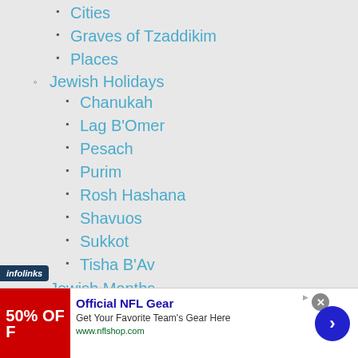Cities
Graves of Tzaddikim
Places
Jewish Holidays
Chanukah
Lag B'Omer
Pesach
Purim
Rosh Hashana
Shavuos
Sukkot
Tisha B'Av
Jewish Months
Jewish Music
Jewish Top 10
[Figure (screenshot): Advertisement banner for Official NFL Gear showing 50% OFF red image, ad title, description, and arrow button. Infolinks badge visible.]